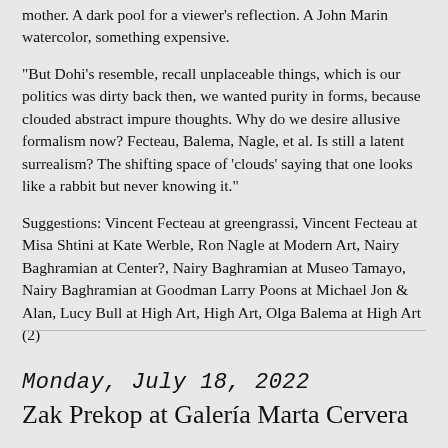mother. A dark pool for a viewer's reflection. A John Marin watercolor, something expensive.
"But Dohi's resemble, recall unplaceable things, which is our politics was dirty back then, we wanted purity in forms, because clouded abstract impure thoughts. Why do we desire allusive formalism now? Fecteau, Balema, Nagle, et al. Is still a latent surrealism? The shifting space of 'clouds' saying that one looks like a rabbit but never knowing it."
Suggestions: Vincent Fecteau at greengrassi, Vincent Fecteau at Misa Shtini at Kate Werble, Ron Nagle at Modern Art, Nairy Baghramian at Center?, Nairy Baghramian at Museo Tamayo, Nairy Baghramian at Goodman Larry Poons at Michael Jon & Alan, Lucy Bull at High Art, High Art, Olga Balema at High Art (2)
Monday, July 18, 2022
Zak Prekop at Galería Marta Cervera